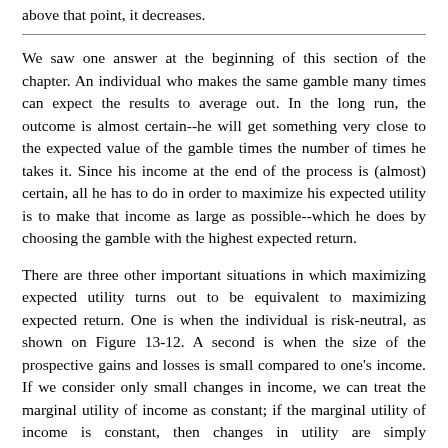above that point, it decreases.
We saw one answer at the beginning of this section of the chapter. An individual who makes the same gamble many times can expect the results to average out. In the long run, the outcome is almost certain--he will get something very close to the expected value of the gamble times the number of times he takes it. Since his income at the end of the process is (almost) certain, all he has to do in order to maximize his expected utility is to make that income as large as possible--which he does by choosing the gamble with the highest expected return.
There are three other important situations in which maximizing expected utility turns out to be equivalent to maximizing expected return. One is when the individual is risk-neutral, as shown on Figure 13-12. A second is when the size of the prospective gains and losses is small compared to one's income. If we consider only small changes in income, we can treat the marginal utility of income as constant; if the marginal utility of income is constant, then changes in utility are simply proportional to